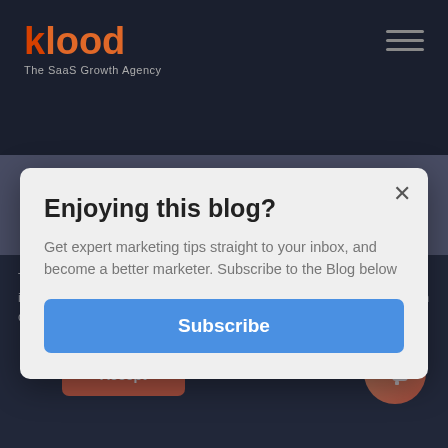[Figure (logo): Klood logo - The SaaS Growth Agency]
Enjoying this blog?
Get expert marketing tips straight to your inbox, and become a better marketer. Subscribe to the Blog below
Subscribe
This website stores cookies on your computer. These cookies are used to improve your website and provide more personalized services to you, both on this website and through other media.
Accept